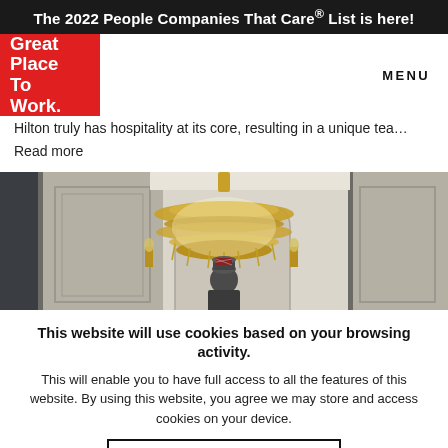The 2022 People Companies That Care® List is here!
[Figure (logo): Great Place To Work logo — white text on red background]
MENU
Hilton truly has hospitality at its core, resulting in a unique tea…
Read more
[Figure (photo): Hotel lobby interior with ornate gold chandelier and a staff member in uniform standing in the foreground]
This website will use cookies based on your browsing activity.
This will enable you to have full access to all the features of this website. By using this website, you agree we may store and access cookies on your device.
I UNDERSTAND